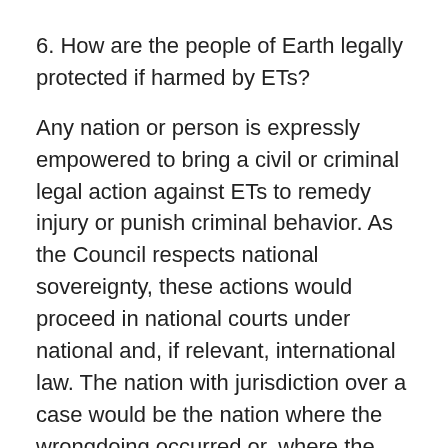6. How are the people of Earth legally protected if harmed by ETs?
Any nation or person is expressly empowered to bring a civil or criminal legal action against ETs to remedy injury or punish criminal behavior. As the Council respects national sovereignty, these actions would proceed in national courts under national and, if relevant, international law. The nation with jurisdiction over a case would be the nation where the wrongdoing occurred or, where the injured person resides. Council Constitution, Article XI.
This provision would cover injuries caused by non-consensual medical treatment such as been frequently reported by UFO abductees. ETs could not thwart Earth jurisdiction by asserting the injurious act occurred off Earth since jurisdiction can be based, not only, on the where the